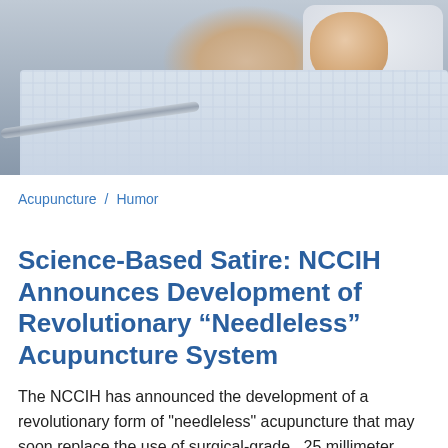[Figure (photo): Elderly patient lying in a hospital bed wearing a dotted hospital gown, resting on a white pillow. A metal bed rail is visible in the foreground.]
Acupuncture / Humor
Science-Based Satire: NCCIH Announces Development of Revolutionary “Needleless” Acupuncture System
The NCCIH has announced the development of a revolutionary form of "needleless" acupuncture that may soon replace the use of surgical-grade, .25 millimeter thick stainless